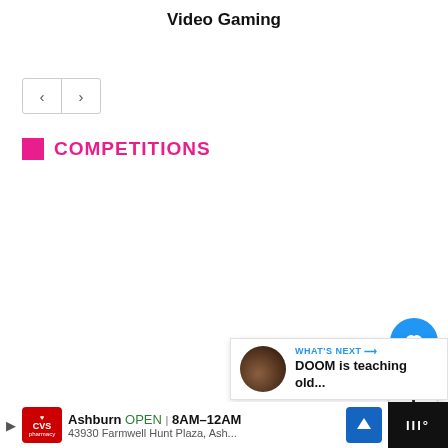Video Gaming
[Figure (screenshot): Navigation arrows (left/right) in a bordered box]
COMPETITIONS
[Figure (screenshot): Blue circular heart/like button]
1
[Figure (screenshot): Pink scroll-to-top button with up arrow and blue dot indicator]
[Figure (screenshot): What's Next panel showing DOOM is teaching old...]
[Figure (screenshot): CVS Pharmacy ad: Ashburn OPEN 8AM-12AM, 43930 Farmwell Hunt Plaza, Ash...]